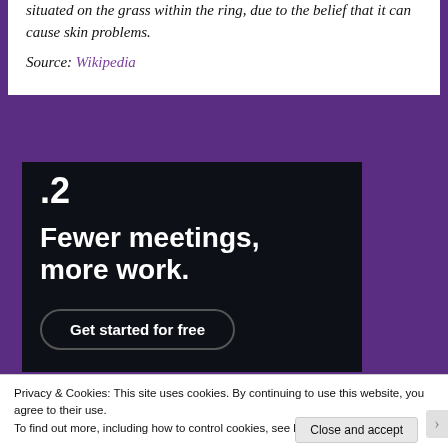Young ladies are also warned not to touch dew situated on the grass within the ring, due to the belief that it can cause skin problems.
Source: Wikipedia
[Figure (screenshot): Advertisement banner with dark background showing '.2' in top left, headline 'Fewer meetings, more work.' and a 'Get started for free' button]
Privacy & Cookies: This site uses cookies. By continuing to use this website, you agree to their use.
To find out more, including how to control cookies, see here: Cookie Policy
Close and accept